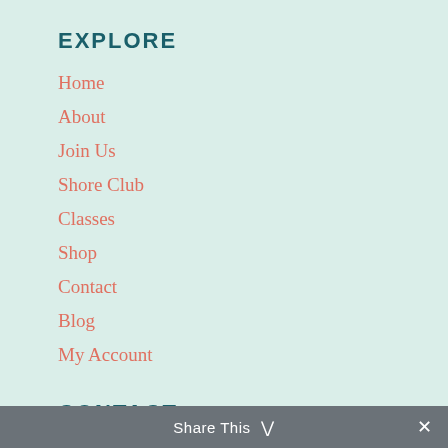EXPLORE
Home
About
Join Us
Shore Club
Classes
Shop
Contact
Blog
My Account
CONTACT
jenpitta@comcast.net
508-954-0160
Share This ✓ ×